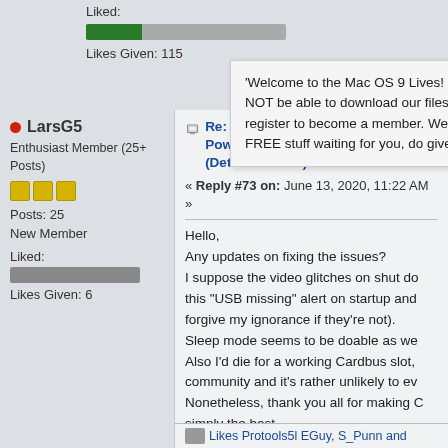Liked:
[Figure (other): Progress bar with green fill, approximately 28% filled]
Likes Given: 115
'Welcome to the Mac OS 9 Lives! Forum You will NOT be able to download our files until you register to become a member. We have tons of FREE stuff waiting for you, do give it a try.'
LarsG5
Enthusiast Member (25+ Posts)
[Figure (other): Three yellow/gold star rating squares]
Posts: 25
New Member
Liked:
[Figure (other): Gray progress bar, empty]
Likes Given: 6
Re: Mac OS 9 booting on: PowerBook G4 17" Aluminum 5 (Detailed Posts)
« Reply #73 on: June 13, 2020, 11:22 AM »
Hello,
Any updates on fixing the issues?
I suppose the video glitches on shut do this "USB missing" alert on startup and forgive my ignorance if they're not).
Sleep mode seems to be doable as we Also I'd die for a working Cardbus slot, community and it's rather unlikely to ev Nonetheless, thank you all for making C simply the best.
Likes Protools5l EGuy, S_Punn and